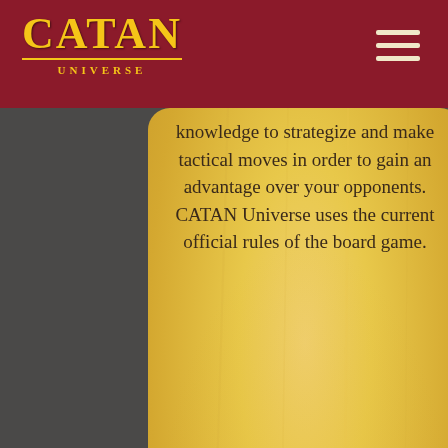CATAN UNIVERSE
[Figure (illustration): A decorative parchment card from CATAN Universe with vine/branch border decorations and golden background gradient. The card shows text about game strategy and uses of official rules. The lower portion of the card is visible with ornate corner decorations.]
knowledge to strategize and make tactical moves in order to gain an advantage over your opponents. CATAN Universe uses the current official rules of the board game.